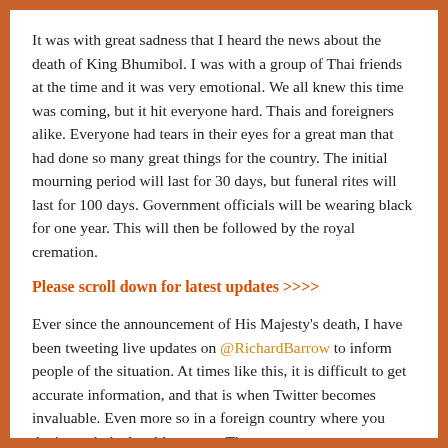It was with great sadness that I heard the news about the death of King Bhumibol. I was with a group of Thai friends at the time and it was very emotional. We all knew this time was coming, but it hit everyone hard. Thais and foreigners alike. Everyone had tears in their eyes for a great man that had done so many great things for the country. The initial mourning period will last for 30 days, but funeral rites will last for 100 days. Government officials will be wearing black for one year. This will then be followed by the royal cremation.
Please scroll down for latest updates >>>>
Ever since the announcement of His Majesty's death, I have been tweeting live updates on @RichardBarrow to inform people of the situation. At times like this, it is difficult to get accurate information, and that is when Twitter becomes invaluable. Even more so in a foreign country where you don't speak the local language. The